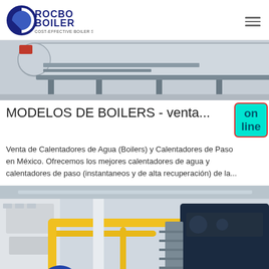ROCBO BOILER - COST-EFFECTIVE BOILER SUPPLIER
[Figure (photo): Exterior industrial boiler unit, horizontal cylindrical tank with metal framework, pipes and supports, photographed from below/side angle against white background.]
MODELOS DE BOILERS - venta...
Venta de Calentadores de Agua (Boilers) y Calentadores de Paso en México. Ofrecemos los mejores calentadores de agua y calentadores de paso (instantaneos y de alta recuperación) de la...
[Figure (photo): Industrial boiler room interior with large blue boilers, yellow piping, metal staircases, and industrial equipment on a concrete floor.]